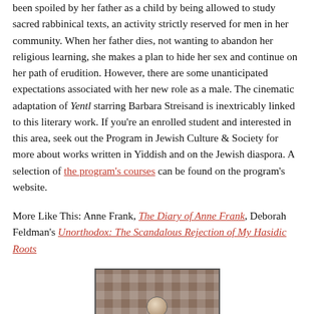been spoiled by her father as a child by being allowed to study sacred rabbinical texts, an activity strictly reserved for men in her community. When her father dies, not wanting to abandon her religious learning, she makes a plan to hide her sex and continue on her path of erudition. However, there are some unanticipated expectations associated with her new role as a male. The cinematic adaptation of Yentl starring Barbara Streisand is inextricably linked to this literary work. If you're an enrolled student and interested in this area, seek out the Program in Jewish Culture & Society for more about works written in Yiddish and on the Jewish diaspora. A selection of the program's courses can be found on the program's website.
More Like This: Anne Frank, The Diary of Anne Frank, Deborah Feldman's Unorthodox: The Scandalous Rejection of My Hasidic Roots
[Figure (photo): A sepia-toned photograph showing a grid window or lattice structure with a round object (ball or globe) in the foreground.]